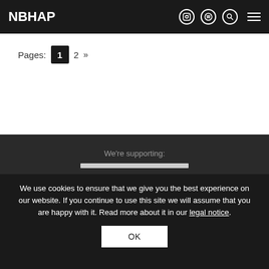NBHAP
Pages: 1 2 »
We're supporting:
We use cookies to ensure that we give you the best experience on our website. If you continue to use this site we will assume that you are happy with it. Read more about it in our legal notice.
OK